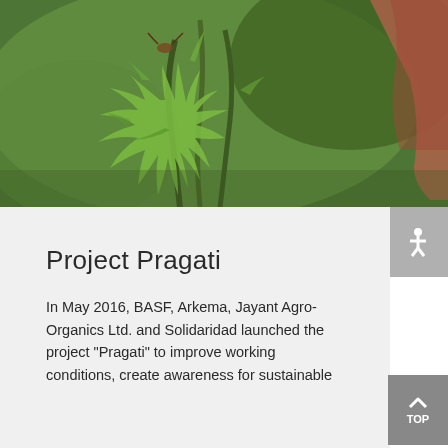[Figure (photo): Close-up photograph of green spiky plant with reddish stem/hand in background, on green background]
Project Pragati
In May 2016, BASF, Arkema, Jayant Agro-Organics Ltd. and Solidaridad launched the project "Pragati" to improve working conditions, create awareness for sustainable farming and increase yields due to more efficient farming practices.
↗ More